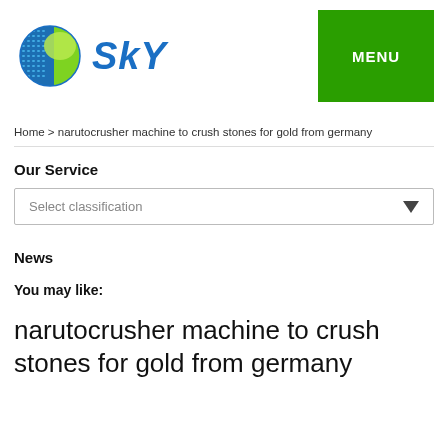[Figure (logo): SKY company logo with globe icon (blue dotted globe with green highlight) and italic blue 'SKY' text]
MENU
Home > narutocrusher machine to crush stones for gold from germany
Our Service
Select classification
News
You may like:
narutocrusher machine to crush stones for gold from germany